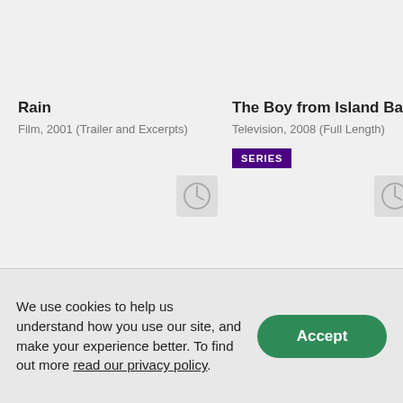Rain
Film, 2001 (Trailer and Excerpts)
[Figure (illustration): Clock/watch icon placeholder thumbnail for Rain]
The Boy from Island Bay
Television, 2008 (Full Length)
[Figure (illustration): SERIES badge and clock/watch icon placeholder thumbnail for The Boy from Island Bay]
We use cookies to help us understand how you use our site, and make your experience better. To find out more read our privacy policy.